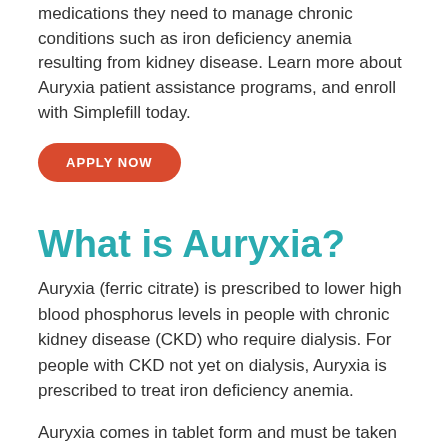medications they need to manage chronic conditions such as iron deficiency anemia resulting from kidney disease. Learn more about Auryxia patient assistance programs, and enroll with Simplefill today.
APPLY NOW
What is Auryxia?
Auryxia (ferric citrate) is prescribed to lower high blood phosphorus levels in people with chronic kidney disease (CKD) who require dialysis. For people with CKD not yet on dialysis, Auryxia is prescribed to treat iron deficiency anemia.
Auryxia comes in tablet form and must be taken three times daily, with meals.
What Does Simplefill